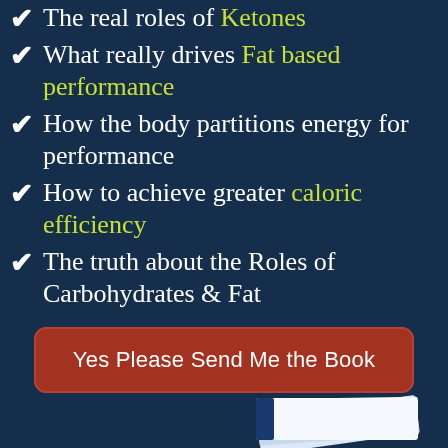The real roles of Ketones
What really drives Fat based performance
How the body partitions energy for performance
How to achieve greater caloric efficiency
The truth about the Roles of Carbohydrates & Fat
Yes Please Send Me the Book